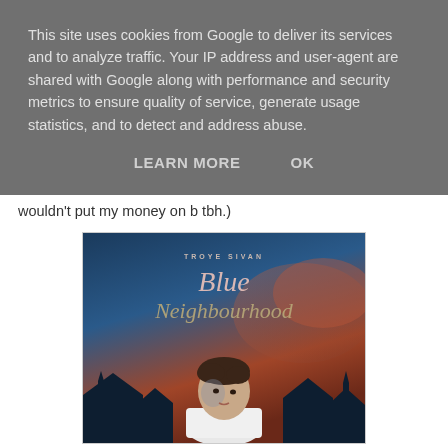This site uses cookies from Google to deliver its services and to analyze traffic. Your IP address and user-agent are shared with Google along with performance and security metrics to ensure quality of service, generate usage statistics, and to detect and address abuse.
LEARN MORE    OK
wouldn't put my money on b tbh.)
[Figure (illustration): Album cover for 'Blue Neighbourhood' by Troye Sivan. Shows a young man in a white sweater against a dramatic dusk sky with silhouetted houses. Cursive text reads 'Blue Neighbourhood' with 'TROYE SIVAN' in small caps above.]